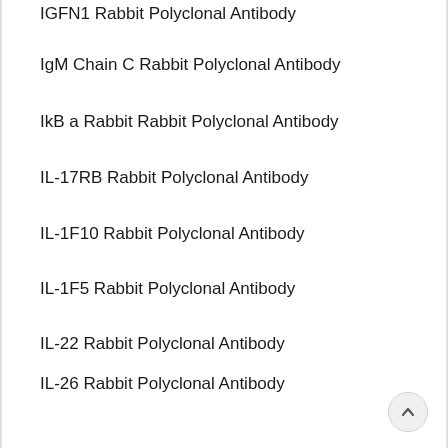IGFN1 Rabbit Polyclonal Antibody
IgM Chain C Rabbit Polyclonal Antibody
IkB a Rabbit Rabbit Polyclonal Antibody
IL-17RB Rabbit Polyclonal Antibody
IL-1F10 Rabbit Polyclonal Antibody
IL-1F5 Rabbit Polyclonal Antibody
IL-22 Rabbit Polyclonal Antibody
IL-26 Rabbit Polyclonal Antibody
IL-4Ra Rabbit Polyclonal Antibody
Imp3 Rabbit Polyclonal Antibody